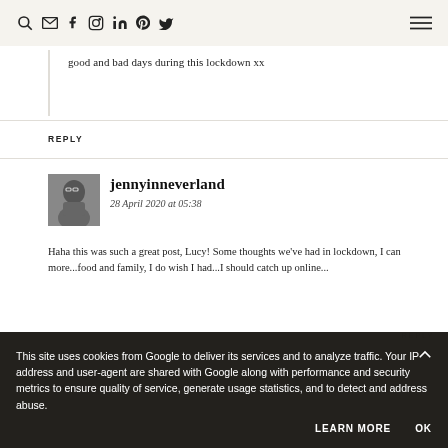Navigation bar with search, email, facebook, instagram, linkedin, pinterest, twitter icons and hamburger menu
good and bad days during this lockdown xx
REPLY
jennyinneverland
28 April 2020 at 05:38
Haha this was such a great post, Lucy! Some thoughts we've had in lockdown, I can more...food and family, I do wish I had a...I should catch up online...
REPLY
This site uses cookies from Google to deliver its services and to analyze traffic. Your IP address and user-agent are shared with Google along with performance and security metrics to ensure quality of service, generate usage statistics, and to detect and address abuse.
LEARN MORE
OK